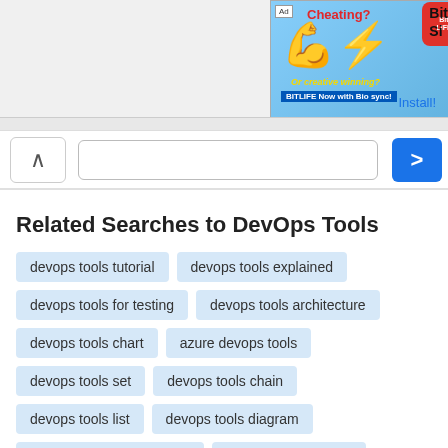[Figure (screenshot): Advertisement banner for BitLife mobile game showing 'Cheating? Or creative winning?' with a flexing arm emoji and BitLife branding, plus an install button]
[Figure (screenshot): Browser navigation bar with back/up arrow button, search/URL bar, and forward arrow button]
Related Searches to DevOps Tools
devops tools tutorial
devops tools explained
devops tools for testing
devops tools architecture
devops tools chart
azure devops tools
devops tools set
devops tools chain
devops tools list
devops tools diagram
open source devops tools
what is devops tools
list of devops tools
devops tools for automation